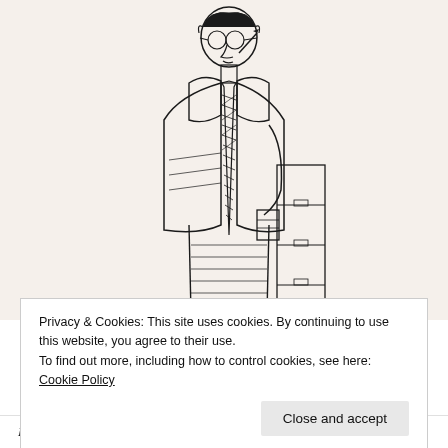[Figure (illustration): Line drawing / pen-and-ink illustration of a man wearing a suit and patterned tie, holding a pen near his mouth in a thoughtful or writing pose, standing next to what appears to be a desk or filing cabinet. The style is a classic editorial/book illustration with cross-hatching.]
Privacy & Cookies: This site uses cookies. By continuing to use this website, you agree to their use.
To find out more, including how to control cookies, see here: Cookie Policy
Close and accept
Looking back I'm a little appalled at my love for Bloom